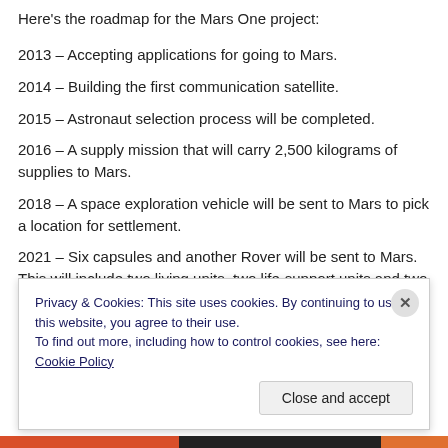Here's the roadmap for the Mars One project:
2013 – Accepting applications for going to Mars.
2014 – Building the first communication satellite.
2015 – Astronaut selection process will be completed.
2016 – A supply mission that will carry 2,500 kilograms of supplies to Mars.
2018 – A space exploration vehicle will be sent to Mars to pick a location for settlement.
2021 – Six capsules and another Rover will be sent to Mars. This will include two living units, two life-support units and two supply units.
Privacy & Cookies: This site uses cookies. By continuing to use this website, you agree to their use. To find out more, including how to control cookies, see here: Cookie Policy